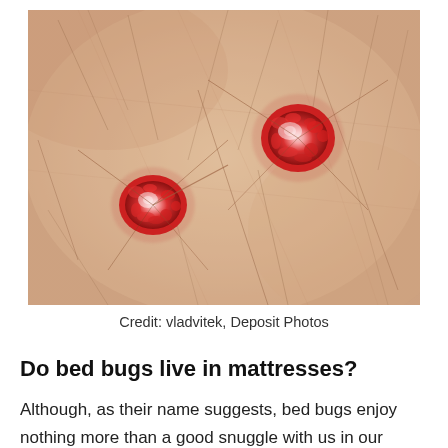[Figure (photo): Close-up macro photograph of human skin showing two red, inflamed bed bug bite marks surrounded by visible fine hairs and skin texture. The bites appear as raised, red, irritated welts on pale skin.]
Credit: vladvitek, Deposit Photos
Do bed bugs live in mattresses?
Although, as their name suggests, bed bugs enjoy nothing more than a good snuggle with us in our